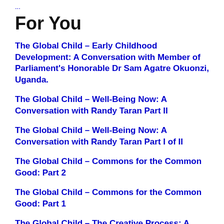...
For You
The Global Child – Early Childhood Development: A Conversation with Member of Parliament's Honorable Dr Sam Agatre Okuonzi, Uganda.
The Global Child – Well-Being Now: A Conversation with Randy Taran Part II
The Global Child – Well-Being Now: A Conversation with Randy Taran Part I of II
The Global Child – Commons for the Common Good: Part 2
The Global Child – Commons for the Common Good: Part 1
The Global Child – The Creative Process: A Conversation with Dr Olga Zharskaya Part II